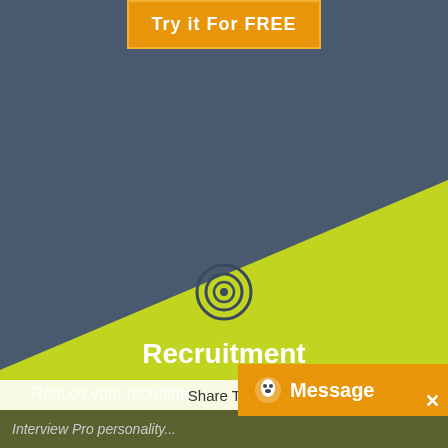[Figure (screenshot): Dark blue-grey background with lime green diagonal band. Orange 'Try it For FREE' button at top. Bullseye/target icon in center of green area. 'Message' overlay button bottom right. 'Share This' bar and 'Interview Pro personality...' footer bar at bottom.]
Try it For FREE
Recruitment
Reduce your recruitme...
Message
Share This
Interview Pro personality...